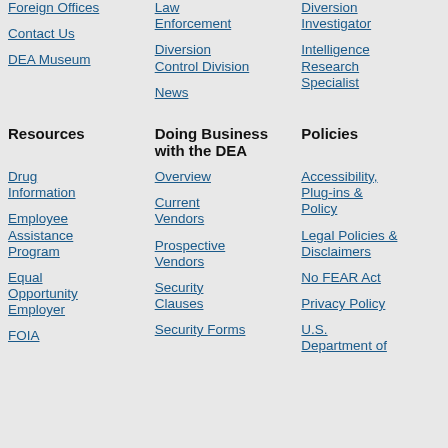Foreign Offices
Contact Us
DEA Museum
Law Enforcement
Diversion Control Division
News
Diversion Investigator
Intelligence Research Specialist
Resources
Doing Business with the DEA
Policies
Drug Information
Employee Assistance Program
Equal Opportunity Employer
FOIA
Overview
Current Vendors
Prospective Vendors
Security Clauses
Security Forms
Accessibility, Plug-ins & Policy
Legal Policies & Disclaimers
No FEAR Act
Privacy Policy
U.S. Department of